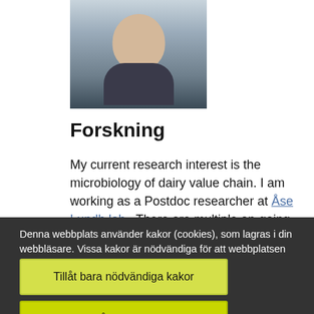[Figure (photo): Headshot photo of a person (Asian male) in a dark patterned shirt, light gray background, partial crop showing from shoulders up]
Forskning
My current research interest is the microbiology of dairy value chain. I am working as a Postdoc researcher at Åse Lundh lab.  There are multiple on-going projects with the overall aim to increase
Denna webbplats använder kakor (cookies), som lagras i din webbläsare. Vissa kakor är nödvändiga för att webbplatsen ska fungera korrekt. Andra är valbara.
Hantera valbara kakor
Tillåt bara nödvändiga kakor
Tillåt alla kakor